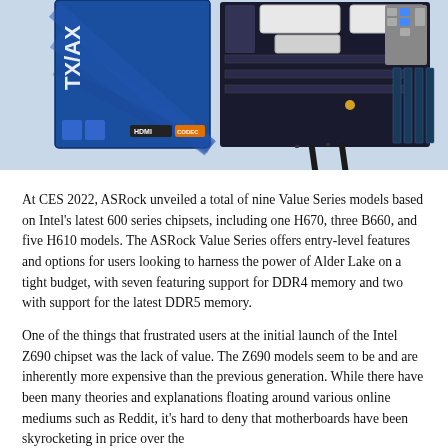[Figure (photo): Product photo showing an ASRock motherboard with its retail box (blue box with TX/AX branding, HDMI label), the white/silver motherboard itself, and two black WiFi antennas in the foreground.]
At CES 2022, ASRock unveiled a total of nine Value Series models based on Intel's latest 600 series chipsets, including one H670, three B660, and five H610 models. The ASRock Value Series offers entry-level features and options for users looking to harness the power of Alder Lake on a tight budget, with seven featuring support for DDR4 memory and two with support for the latest DDR5 memory.
One of the things that frustrated users at the initial launch of the Intel Z690 chipset was the lack of value. The Z690 models seem to be and are inherently more expensive than the previous generation. While there have been many theories and explanations floating around various online mediums such as Reddit, it's hard to deny that motherboards have been skyrocketing in price over the